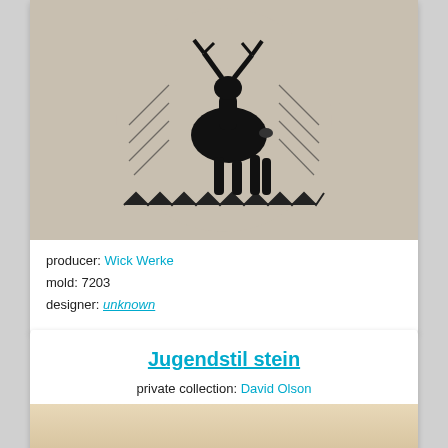[Figure (photo): Close-up photo of a ceramic stein with a black deer/stag silhouette design on a gray/beige background, with zigzag border at bottom]
producer: Wick Werke
mold: 7203
designer: unknown
Jugendstil stein
private collection: David Olson
[Figure (photo): Partial photo of another stein, showing beige/tan surface, cropped at bottom of page]